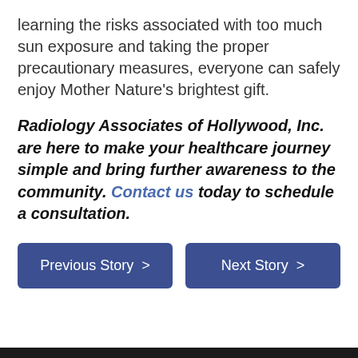learning the risks associated with too much sun exposure and taking the proper precautionary measures, everyone can safely enjoy Mother Nature's brightest gift.
Radiology Associates of Hollywood, Inc. are here to make your healthcare journey simple and bring further awareness to the community. Contact us today to schedule a consultation.
Previous Story >
Next Story >
Notice of Privacy Practices
Notice of Non-Discrimination